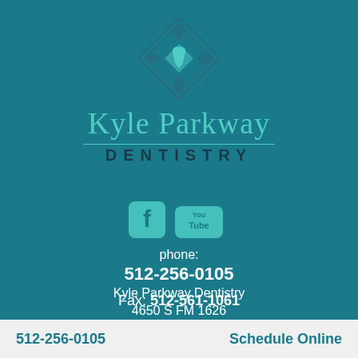[Figure (logo): Kyle Parkway Dentistry logo with decorative diamond shape containing a tooth icon, teal color scheme on dark teal background]
Kyle Parkway DENTISTRY
[Figure (illustration): Social media icons: Facebook and YouTube logos in teal]
phone: 512-256-0105
Fax: 512-561-1061
Kyle Parkway Dentistry
4650 S FM 1626
512-256-0105    Schedule Online